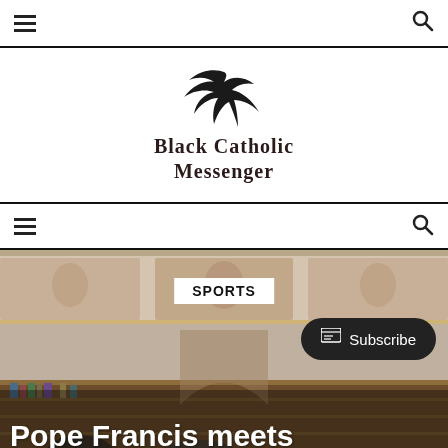Black Catholic Messenger - navigation bar with hamburger menu and search icon
[Figure (logo): Black Catholic Messenger logo with bird silhouette above bold serif text reading BLACK CATHOLIC MESSENGER]
Secondary navigation bar with hamburger menu and search icon
[Figure (photo): Interior room with classical fresco paintings on walls above wooden bookshelves, people visible in the lower portion. Category badge 'SPORTS' overlaid on the image, a Subscribe button in dark rounded rectangle at right, and large white text at bottom reading 'Pope Francis meets']